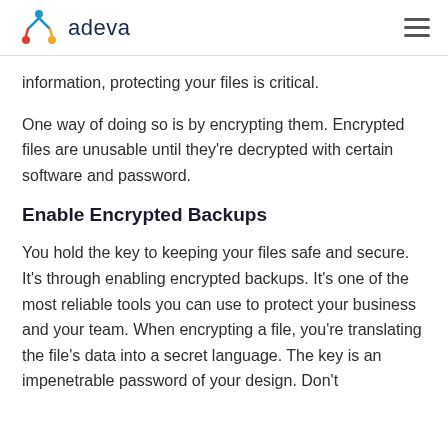adeva
information, protecting your files is critical.
One way of doing so is by encrypting them. Encrypted files are unusable until they're decrypted with certain software and password.
Enable Encrypted Backups
You hold the key to keeping your files safe and secure. It's through enabling encrypted backups. It's one of the most reliable tools you can use to protect your business and your team. When encrypting a file, you're translating the file's data into a secret language. The key is an impenetrable password of your design. Don't